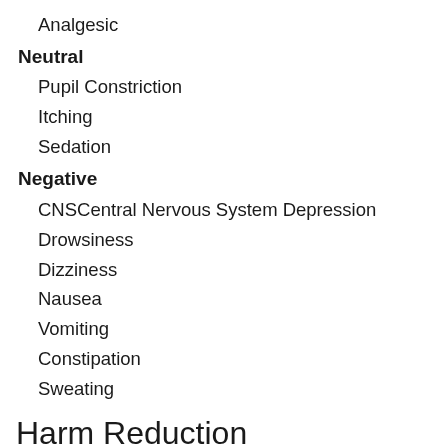Analgesic
Neutral
Pupil Constriction
Itching
Sedation
Negative
CNSCentral Nervous System Depression
Drowsiness
Dizziness
Nausea
Vomiting
Constipation
Sweating
Harm Reduction
There has been some reports of a rare blood disease linked with intravenous injection since the new formulation (early 2012) came out. Read more Here